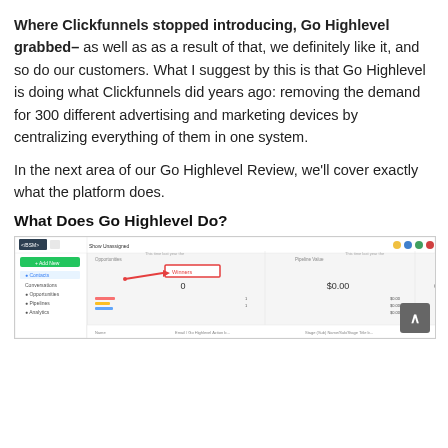Where Clickfunnels stopped introducing, Go Highlevel grabbed– as well as as a result of that, we definitely like it, and so do our customers. What I suggest by this is that Go Highlevel is doing what Clickfunnels did years ago: removing the demand for 300 different advertising and marketing devices by centralizing everything of them in one system.
In the next area of our Go Highlevel Review, we'll cover exactly what the platform does.
What Does Go Highlevel Do?
[Figure (screenshot): Screenshot of the Go Highlevel platform dashboard interface showing opportunities, pipeline value ($0.00), and conversion rate (0.00%) with a red arrow pointing to a highlighted element labeled 'Winners'. Various colored icons appear in the top right.]